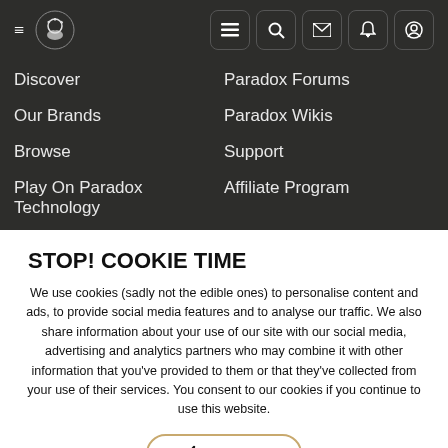[Figure (screenshot): Dark navigation bar with hamburger menu icon, circular logo with white stylized design, and five icon buttons (list, search, mail, bell, user) with rounded square borders on dark background]
Discover
Paradox Forums
Our Brands
Paradox Wikis
Browse
Support
Play On Paradox Technology
Affiliate Program
ABOUT
SOCIAL MEDIA
STOP! COOKIE TIME
We use cookies (sadly not the edible ones) to personalise content and ads, to provide social media features and to analyse our traffic. We also share information about your use of our site with our social media, advertising and analytics partners who may combine it with other information that you've provided to them or that they've collected from your use of their services. You consent to our cookies if you continue to use this website.
✓ ACCEPT